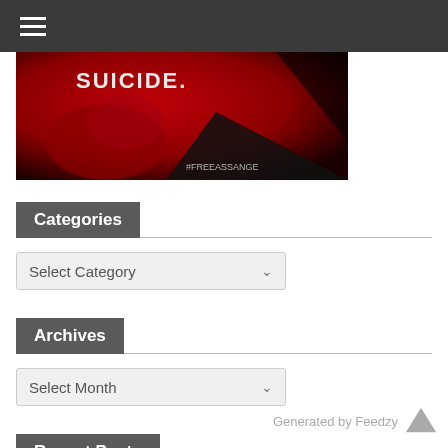≡ (hamburger menu)
[Figure (photo): Red and black themed image with text 'SUICIDE.' and hashtag '#FREEASSANGE' in the lower right corner.]
Categories
Select Category
Archives
Select Month
Recent Posts
Generated by Feedzy